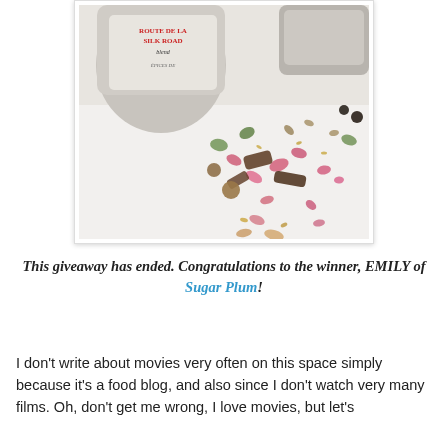[Figure (photo): A photo of a jar labeled 'ROUTE DE LA SILK ROAD blend' spice tin with assorted spices, dried rose petals, cardamom pods, and other botanicals scattered on a white surface.]
This giveaway has ended. Congratulations to the winner, EMILY of Sugar Plum!
I don't write about movies very often on this space simply because it's a food blog, and also since I don't watch very many films. Oh, don't get me wrong, I love movies, but let's